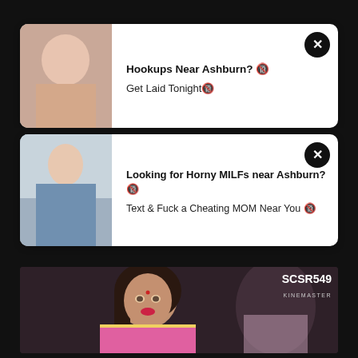[Figure (screenshot): Advertisement card 1: Hookups Near Ashburn? with close button]
Hookups Near Ashburn? 🔞
Get Laid Tonight🔞
[Figure (screenshot): Advertisement card 2: Looking for Horny MILFs near Ashburn? with close button]
Looking for Horny MILFs near Ashburn? 🔞
Text & Fuck a Cheating MOM Near You 🔞
[Figure (screenshot): Video player showing a woman in a pink saree, watermark SCSR549 KINEMASTER]